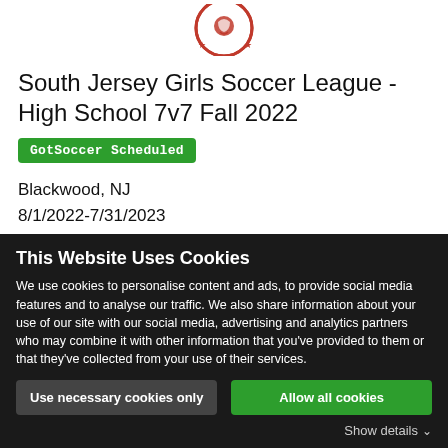[Figure (logo): South Jersey Girls Soccer League logo — circular emblem with soccer ball and stars, red and white colors, partially cropped at top]
South Jersey Girls Soccer League - High School 7v7 Fall 2022
GotSoccer Scheduled
Blackwood, NJ
8/1/2022-7/31/2023
Girls OPEN
Schedule
Hotels
This Website Uses Cookies
We use cookies to personalise content and ads, to provide social media features and to analyse our traffic. We also share information about your use of our site with our social media, advertising and analytics partners who may combine it with other information that you've provided to them or that they've collected from your use of their services.
Use necessary cookies only
Allow all cookies
Show details